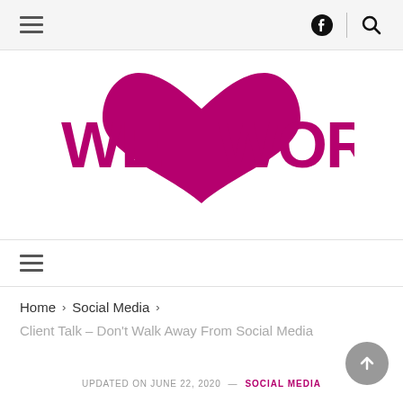Navigation bar with hamburger menu, Facebook icon, divider, and search icon
[Figure (logo): WeWorld logo: bold magenta/pink text 'WE WORLD' with a large heart shape replacing the space between WE and WORLD, in deep magenta/pink color]
Secondary navigation bar with hamburger menu icon
Home > Social Media >
Client Talk – Don't Walk Away From Social Media
UPDATED ON JUNE 22, 2020 — SOCIAL MEDIA